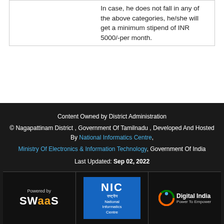|  | In case, he does not fall in any of the above categories, he/she will get a minimum stipend of INR 5000/-per month. |
Content Owned by District Administration
© Nagapattinam District , Government Of Tamilnadu , Developed And Hosted By National Informatics Centre,
Ministry Of Electronics & Information Technology, Government Of India
Last Updated: Sep 02, 2022
[Figure (logo): Powered by SWaaS logo]
[Figure (logo): NIC National Informatics Centre logo]
[Figure (logo): Digital India Power To Empower logo]